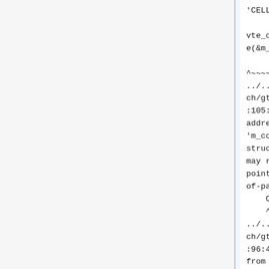'CELL_ATTR_COLOR'

vte_color_triple_set_##name(&m_colors, value); \

^~~~~~~~
../../../../../vice/src/arch/gtk3/novte/vterowdata.h:105:5: warning: taking address of packed member 'm_colors' of class or structure 'VteCellAttr' may result in an unaligned pointer value [-Waddress-of-packed-member]
    CELL_ATTR_COLOR(back)
    ^~~~~~~~~~~~~~~~~~~~~
../../../../../vice/src/arch/gtk3/novte/vterowdata.h:96:46: note: expanded from macro 'CELL_ATTR_COLOR'

vte_color_triple_set_##name(&m_colors, value); \